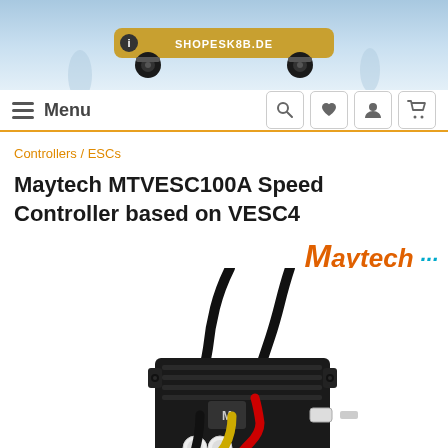[Figure (screenshot): Website header banner with electric skateboard image and SHOPESK8B.DE logo on a light blue background]
Menu [navigation icons: search, heart/wishlist, user, cart]
Controllers / ESCs
Maytech MTVESC100A Speed Controller based on VESC4
[Figure (photo): Maytech MTVESC100A electronic speed controller (ESC) device - black rectangular enclosure with motor wires (black) and battery wires (red, yellow, black) attached]